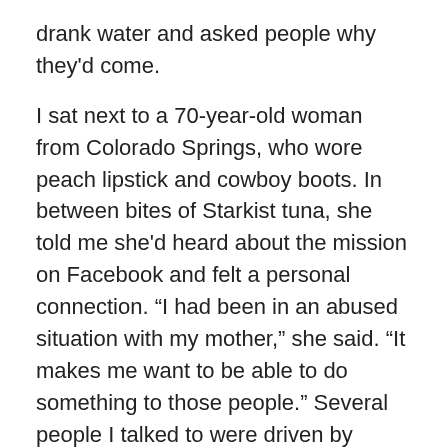drank water and asked people why they'd come.
I sat next to a 70-year-old woman from Colorado Springs, who wore peach lipstick and cowboy boots. In between bites of Starkist tuna, she told me she'd heard about the mission on Facebook and felt a personal connection. “I had been in an abused situation with my mother,” she said. “It makes me want to be able to do something to those people.” Several people I talked to were driven by curiosity; they saw strange stories on Facebook and wanted to find the truth. There were longtime friends of Arthur’s who had found a home at his shelters, or helped with Veterans on Patrol. And there were also hardcore conspiracy theorists, who believed the “sex camp” was part of a global pedophile ring run by rich elites.
Pedophile rings allegedly involving high-profile Democrats